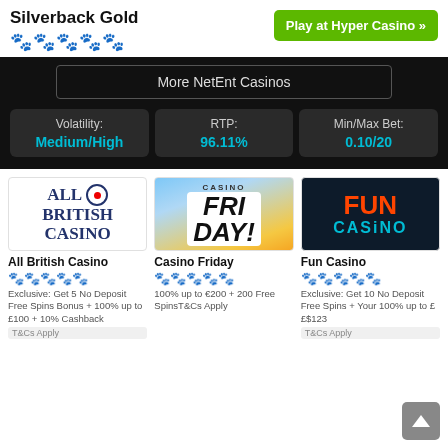Silverback Gold
🐾🐾🐾🐾🐾 (4.5/5 paws rating)
Play at Hyper Casino »
More NetEnt Casinos
Volatility: Medium/High
RTP: 96.11%
Min/Max Bet: 0.10/20
[Figure (logo): All British Casino logo with target icon]
All British Casino
🐾🐾🐾🐾🐾 (4.5/5)
Exclusive: Get 5 No Deposit Free Spins Bonus + 100% up to £100 + 10% Cashback
T&Cs Apply
[Figure (logo): Casino Friday logo with coins]
Casino Friday
🐾🐾🐾🐾 (4/5)
100% up to €200 + 200 Free SpinsT&Cs Apply
[Figure (logo): Fun Casino logo in colorful text]
Fun Casino
🐾🐾🐾🐾 (4/5)
Exclusive: Get 10 No Deposit Free Spins + Your 100% up to ££$123
T&Cs Apply